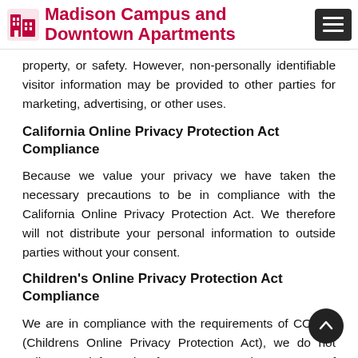Madison Campus and Downtown Apartments
property, or safety. However, non-personally identifiable visitor information may be provided to other parties for marketing, advertising, or other uses.
California Online Privacy Protection Act Compliance
Because we value your privacy we have taken the necessary precautions to be in compliance with the California Online Privacy Protection Act. We therefore will not distribute your personal information to outside parties without your consent.
Children's Online Privacy Protection Act Compliance
We are in compliance with the requirements of COPPA (Childrens Online Privacy Protection Act), we do not collect any information from anyone under 13 years of age. Our website, products and services are all directed to people who are at least 13 years old or older.